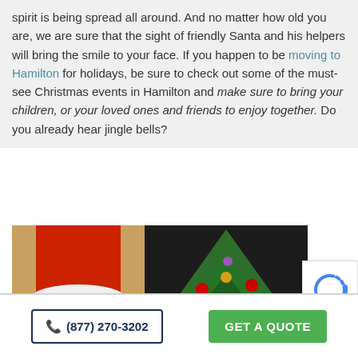spirit is being spread all around. And no matter how old you are, we are sure that the sight of friendly Santa and his helpers will bring the smile to your face. If you happen to be moving to Hamilton for holidays, be sure to check out some of the must-see Christmas events in Hamilton and make sure to bring your children, or your loved ones and friends to enjoy together. Do you already hear jingle bells?
[Figure (photo): Photo of a person in a Santa outfit with red skirt with white fur trim and red-and-white striped leggings on the left, and a decorated Christmas tree with red ornaments on the right.]
(877) 270-3202   GET A QUOTE